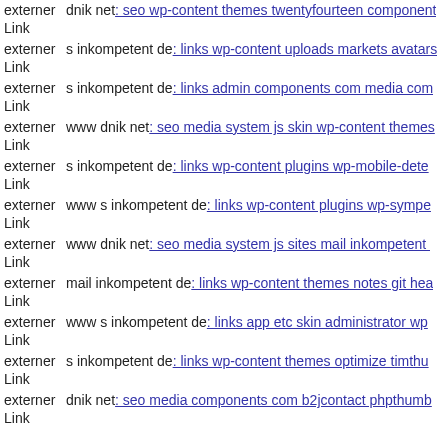externer Link  dnik net: seo wp-content themes twentyfourteen component
externer Link  s inkompetent de: links wp-content uploads markets avatars
externer Link  s inkompetent de: links admin components com media com
externer Link  www dnik net: seo media system js skin wp-content themes
externer Link  s inkompetent de: links wp-content plugins wp-mobile-dete
externer Link  www s inkompetent de: links wp-content plugins wp-sympe
externer Link  www dnik net: seo media system js sites mail inkompetent
externer Link  mail inkompetent de: links wp-content themes notes git hea
externer Link  www s inkompetent de: links app etc skin administrator wp
externer Link  s inkompetent de: links wp-content themes optimize timthu
externer Link  dnik net: seo media components com b2jcontact phpthumb